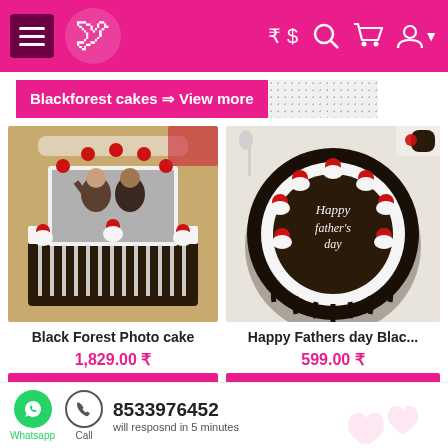Navigation bar with menu, logo, currency toggle (₹ $), search, cart, account icons
Blackforest cakes ⇒ View more
[Figure (photo): Black Forest Photo cake — square cake with white cream border, cherries on top, and a photo of two men printed on it, placed on a wooden board]
Black Forest Photo cake
1,829.00 ₹
Buy Now
[Figure (photo): Happy Fathers Day Black Forest cake — round dark chocolate cake with white cream drizzle, cherries, and 'Happy Father's Day' written on top]
Happy Fathers day Blac...
599.00 ₹
Buy Now
Whatsapp | Call | 8533976452 | will resposnd in 5 minutes